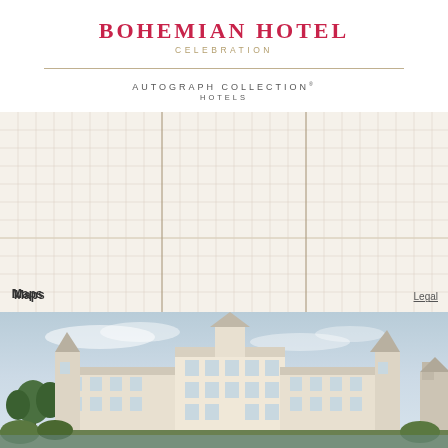Bohemian Hotel Celebration
Autograph Collection Hotels
[Figure (map): Apple Maps showing a zoomed-out blank/beige grid map view with no visible street labels or points of interest. Apple Maps logo in bottom left and Legal link in bottom right.]
[Figure (photo): Exterior photograph of the Bohemian Hotel Celebration, a large Victorian-style building with white and cream colors, turrets, multiple rooflines, seen across a waterway with trees and landscaping in foreground, blue sky above.]